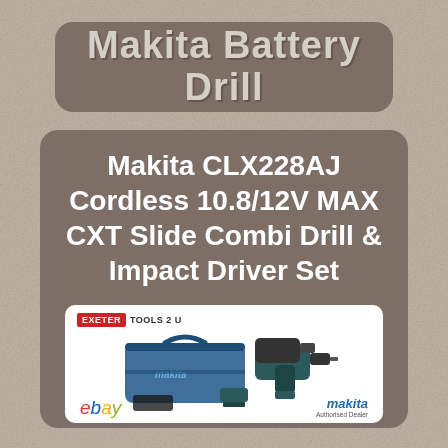Makita Battery Drill
Makita CLX228AJ Cordless 10.8/12V MAX CXT Slide Combi Drill & Impact Driver Set
[Figure (photo): Product photo of Makita CLX228AJ Cordless Drill and Impact Driver Set in a Makita carry case, shown with batteries and accessories. Exeter Tools 2 U logo at top. ebay and Makita Authorised Dealer logos at bottom.]